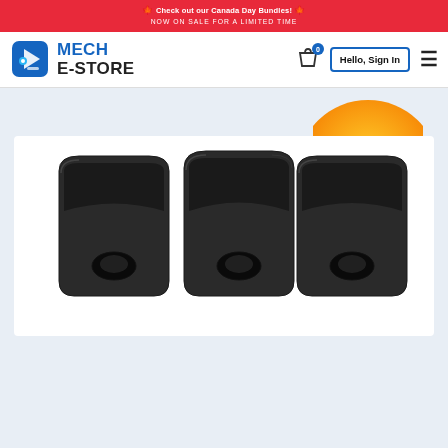Check out our Canada Day Bundles! NOW ON SALE FOR A LIMITED TIME
[Figure (logo): Mech E-Store logo with blue robot icon and bold text MECH E-STORE]
[Figure (photo): Three black silicone heater block socks/covers with hole cutouts, arranged side by side on white background]
[Figure (other): Orange circular sale badge partially visible in top right corner]